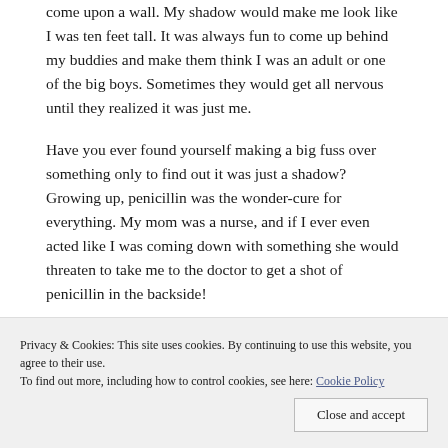come upon a wall. My shadow would make me look like I was ten feet tall. It was always fun to come up behind my buddies and make them think I was an adult or one of the big boys. Sometimes they would get all nervous until they realized it was just me.
Have you ever found yourself making a big fuss over something only to find out it was just a shadow? Growing up, penicillin was the wonder-cure for everything. My mom was a nurse, and if I ever even acted like I was coming down with something she would threaten to take me to the doctor to get a shot of penicillin in the backside!
Privacy & Cookies: This site uses cookies. By continuing to use this website, you agree to their use. To find out more, including how to control cookies, see here: Cookie Policy